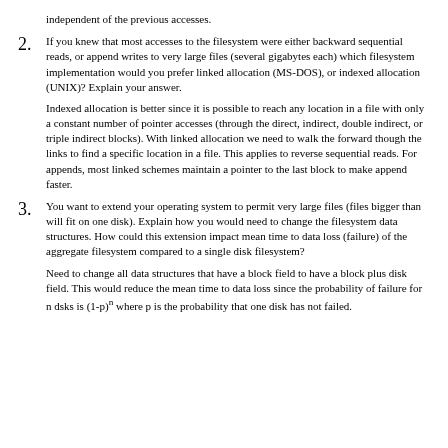independent of the previous accesses.
2. If you knew that most accesses to the filesystem were either backward sequential reads, or append writes to very large files (several gigabytes each) which filesystem implementation would you prefer linked allocation (MS-DOS), or indexed allocation (UNIX)? Explain your answer.
Indexed allocation is better since it is possible to reach any location in a file with only a constant number of pointer accesses (through the direct, indirect, double indirect, or triple indirect blocks). With linked allocation we need to walk the forward though the links to find a specific location in a file. This applies to reverse sequential reads. For appends, most linked schemes maintain a pointer to the last block to make append faster.
3. You want to extend your operating system to permit very large files (files bigger than will fit on one disk). Explain how you would need to change the filesystem data structures. How could this extension impact mean time to data loss (failure) of the aggregate filesystem compared to a single disk filesystem?
Need to change all data structures that have a block field to have a block plus disk field. This would reduce the mean time to data loss since the probability of failure for n dsks is (1-p)^n where p is the probability that one disk has not failed.